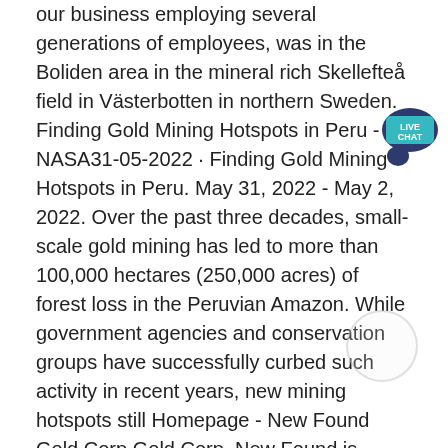our business employing several generations of employees, was in the Boliden area in the mineral rich Skellefteå field in Västerbotten in northern Sweden. Finding Gold Mining Hotspots in Peru - NASA31-05-2022 · Finding Gold Mining Hotspots in Peru. May 31, 2022 - May 2, 2022. Over the past three decades, small-scale gold mining has led to more than 100,000 hectares (250,000 acres) of forest loss in the Peruvian Amazon. While government agencies and conservation groups have successfully curbed such activity in recent years, new mining hotspots still Homepage - New Found Gold Corp.Gold Corp. New Found is advancing its 100% owned 1,510km 2 Queensway gold project, located on the Trans-Canada highway 15km west of Gander, Newfoundland. A 200,000m drill campaign is underway utilizing eight drills, focused on a 7.8km corridor along the Appleton fault and a 12.4km corridor along the JBP fault. Goldfields places & maps - Gold miners and mining 12-07-2022 · Our digitised map of the mining district of Ballarat from 1858, shows mining district boundaries...